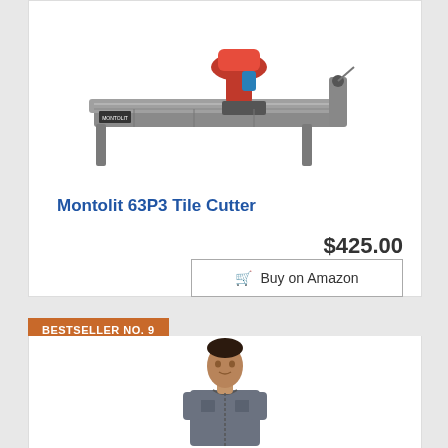[Figure (photo): Montolit 63P3 tile cutter tool - red and grey manual tile cutting machine with handle and stand]
Montolit 63P3 Tile Cutter
$425.00
Buy on Amazon
BESTSELLER NO. 9
[Figure (photo): Person wearing a grey work coverall/jumpsuit uniform, shown from chest up]